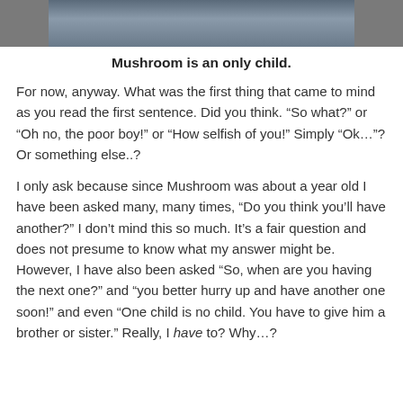[Figure (photo): A photo strip at the top of the page showing people outdoors, partially cropped.]
Mushroom is an only child.
For now, anyway. What was the first thing that came to mind as you read the first sentence. Did you think. “So what?” or “Oh no, the poor boy!” or “How selfish of you!” Simply “Ok…”? Or something else..?
I only ask because since Mushroom was about a year old I have been asked many, many times, “Do you think you’ll have another?” I don’t mind this so much. It’s a fair question and does not presume to know what my answer might be. However, I have also been asked “So, when are you having the next one?” and “you better hurry up and have another one soon!” and even “One child is no child. You have to give him a brother or sister.” Really, I have to? Why…?